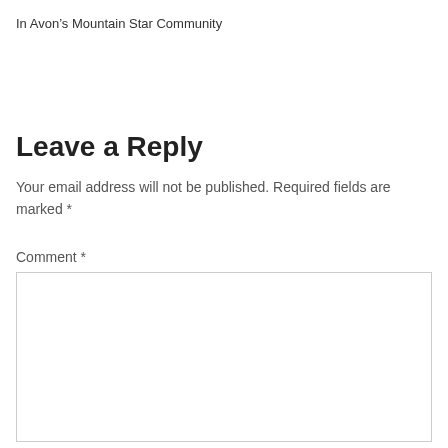In Avon's Mountain Star Community
Leave a Reply
Your email address will not be published. Required fields are marked *
Comment *